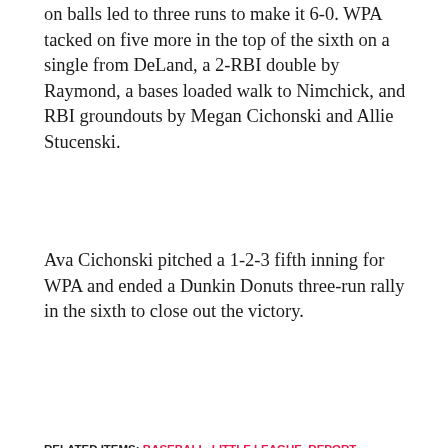on balls led to three runs to make it 6-0. WPA tacked on five more in the top of the sixth on a single from DeLand, a 2-RBI double by Raymond, a bases loaded walk to Nimchick, and RBI groundouts by Megan Cichonski and Allie Stucenski.
Ava Cichonski pitched a 1-2-3 fifth inning for WPA and ended a Dunkin Donuts three-run rally in the sixth to close out the victory.
RELATED ITEMS: BASEBALL, LITTLE LEAGUE, REPORT, ROUNDUP, SOFTBALL, SUMMARIES, SUMMARY, WESTFIELD LITTLE LEAGUE
[Figure (other): Social share buttons: Facebook (blue), Twitter (light blue), WhatsApp (green), Pinterest (red), Email (grey)]
RECOMMENDED FOR YOU
[Figure (photo): Photo strip showing sports/baseball related images behind a chain-link fence]